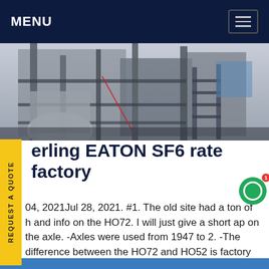MENU
[Figure (photo): Industrial machinery photo showing large metal equipment structure with stairs and scaffolding, outdoors]
erling EATON SF6 rate factory
04, 2021Jul 28, 2021. #1. The old site had a ton of h and info on the HO72. I will just give a short ap on the axle. -Axles were used from 1947 to 2. -The difference between the HO72 and HO52 is factory load bolt. -Axle shafts are 1.5in coarse 17 spline. Many argue whether if they are stronger or weaker then 14 bolt shafts.Get price